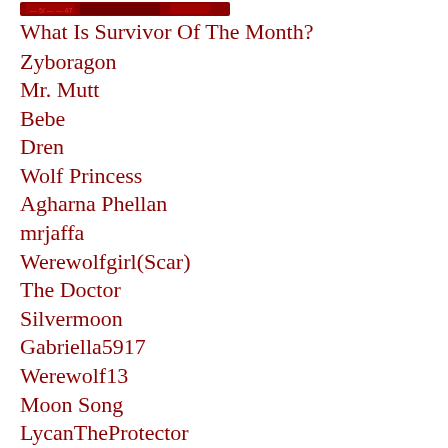[Figure (illustration): Partial decorative image at top of page, appears to be a banner or header graphic in red/dark tones]
What Is Survivor Of The Month?
Zyboragon
Mr. Mutt
Bebe
Dren
Wolf Princess
Agharna Phellan
mrjaffa
Werewolfgirl(Scar)
The Doctor
Silvermoon
Gabriella5917
Werewolf13
Moon Song
LycanTheProtector